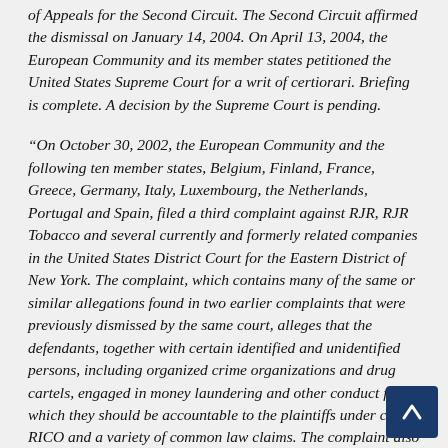of Appeals for the Second Circuit. The Second Circuit affirmed the dismissal on January 14, 2004. On April 13, 2004, the European Community and its member states petitioned the United States Supreme Court for a writ of certiorari. Briefing is complete. A decision by the Supreme Court is pending.
“On October 30, 2002, the European Community and the following ten member states, Belgium, Finland, France, Greece, Germany, Italy, Luxembourg, the Netherlands, Portugal and Spain, filed a third complaint against RJR, RJR Tobacco and several currently and formerly related companies in the United States District Court for the Eastern District of New York. The complaint, which contains many of the same or similar allegations found in two earlier complaints that were previously dismissed by the same court, alleges that the defendants, together with certain identified and unidentified persons, including organized crime organizations and drug cartels, engaged in money laundering and other conduct for which they should be accountable to the plaintiffs under civil RICO and a variety of common law claims. The complaint also alleges that the defendants...